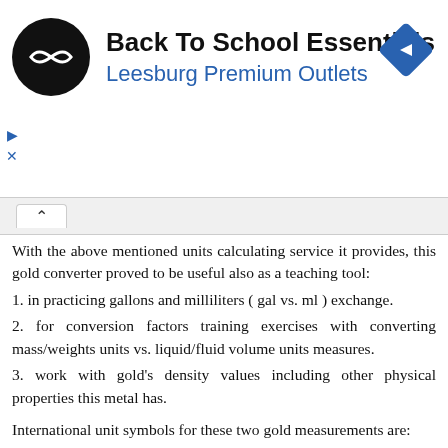[Figure (logo): Advertisement banner: Back To School Essentials, Leesburg Premium Outlets, with circular logo and navigation arrow icon]
With the above mentioned units calculating service it provides, this gold converter proved to be useful also as a teaching tool:
1. in practicing gallons and milliliters ( gal vs. ml ) exchange.
2. for conversion factors training exercises with converting mass/weights units vs. liquid/fluid volume units measures.
3. work with gold's density values including other physical properties this metal has.
International unit symbols for these two gold measurements are:
Abbreviation or prefix ( abbr. short brevis ), unit symbol, for gallon is: gal
Abbreviation or prefix ( abbr. ) brevis - short unit symbol for milliliter is: ml